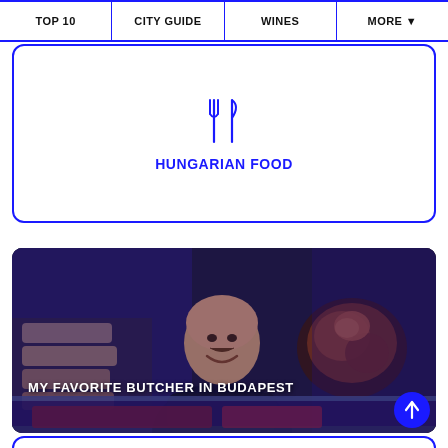TOP 10 | CITY GUIDE | WINES | MORE ▼
HUNGARIAN FOOD
[Figure (photo): A butcher shop scene in Budapest with a bald man smiling behind a display case showing breads on the left and roasted meat products on the right, with the text MY FAVORITE BUTCHER IN BUDAPEST overlaid in white bold letters]
MY FAVORITE BUTCHER IN BUDAPEST